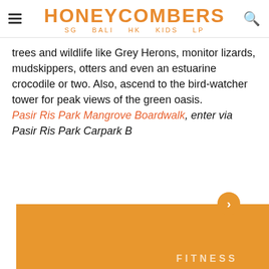HONEYCOMBERS SG BALI HK KIDS LP
trees and wildlife like Grey Herons, monitor lizards, mudskippers, otters and even an estuarine crocodile or two. Also, ascend to the bird-watcher tower for peak views of the green oasis. Pasir Ris Park Mangrove Boardwalk, enter via Pasir Ris Park Carpark B
[Figure (other): Orange section at bottom with FITNESS label partially visible, orange circle with arrow]